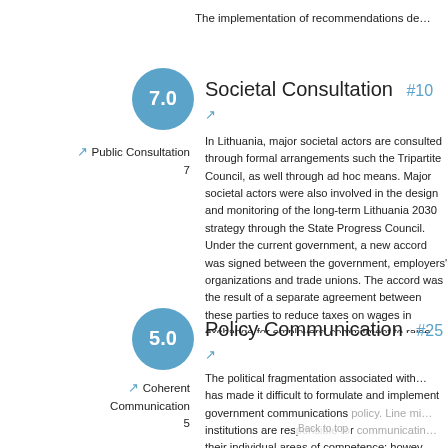The implementation of recommendations de…
[Figure (other): Blue circle score badge showing 7.0]
Societal Consultation  #10 ↗
↗ Public Consultation
7
In Lithuania, major societal actors are consulted through formal arrangements such the Tripartite Council, as well through ad hoc means. Major societal actors were also involved in the design and monitoring of the long-term Lithuania 2030 strategy through the State Progress Council. Under the current government, a new accord was signed between the government, employers' organizations and trade unions. The accord was the result of a separate agreement between these parties to reduce taxes on wages in exchange for employers' commitment to raise wages. However, at the end of 2019, the m…
[Figure (other): Blue circle score badge showing 5.0]
Policy Communication  #25 ↗
↗ Coherent Communication
5
The political fragmentation associated with… has made it difficult to formulate and implement government communications policy. Line ministries and institutions are responsible for communicating their individual areas of competence; however the Department of the Government Office atten…
Back to top